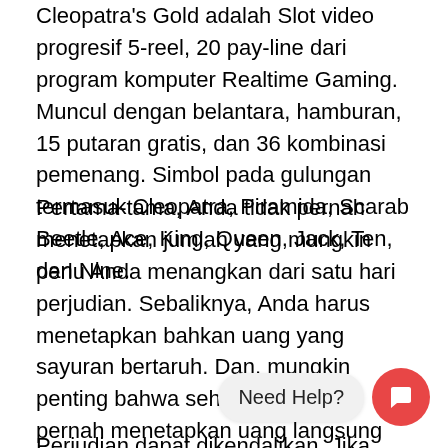Cleopatra's Gold adalah Slot video progresif 5-reel, 20 pay-line dari program komputer Realtime Gaming. Muncul dengan belantara, hamburan, 15 putaran gratis, dan 36 kombinasi pemenang. Simbol pada gulungan termasuk Cleopatra, Piramida, Scarab Beetle, Ace, King, Queen, Jack, Ten, dan Nine.
Pertama-tama, Anda tidak pernah menetapkan jumlah yang mungkin perlu Anda menangkan dari satu hari perjudian. Sebaliknya, Anda harus menetapkan bahkan uang yang sayuran bertaruh. Dan, mungkin penting bahwa seharusnya tidak pernah menetapkan uang langsung untuk situs slot deposit dana bertaruh yang tidak mampu kalah. Perlu diingat bahwa banyak lebih banyak terjun lebih dalam ke dalam utang sebagai melakukan hal itu. Beberapa bahkan tidak bergantung pada perjudian.
Perjudian dapat dikendalikan. Jika Anda berpikir bahwa Anda